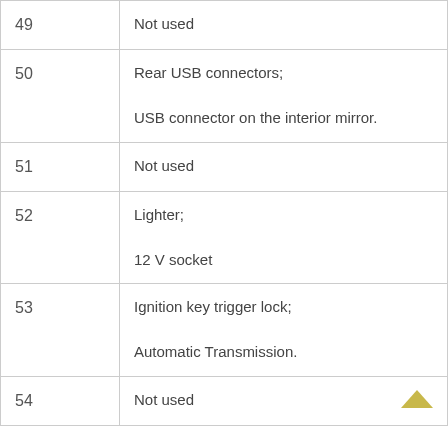| # | Description |
| --- | --- |
| 49 | Not used |
| 50 | Rear USB connectors;

USB connector on the interior mirror. |
| 51 | Not used |
| 52 | Lighter;

12 V socket |
| 53 | Ignition key trigger lock;

Automatic Transmission. |
| 54 | Not used |